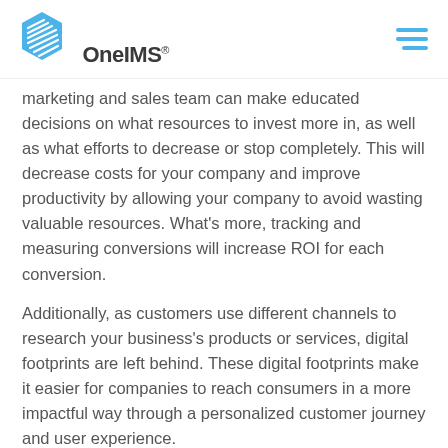[Figure (logo): OneIMS logo with blue hexagon icon and company name]
marketing and sales team can make educated decisions on what resources to invest more in, as well as what efforts to decrease or stop completely. This will decrease costs for your company and improve productivity by allowing your company to avoid wasting valuable resources. What's more, tracking and measuring conversions will increase ROI for each conversion.
Additionally, as customers use different channels to research your business's products or services, digital footprints are left behind. These digital footprints make it easier for companies to reach consumers in a more impactful way through a personalized customer journey and user experience.